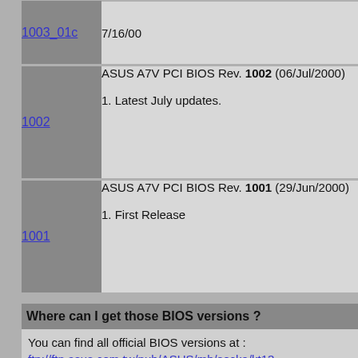| Version | Description |
| --- | --- |
| 1003_01c | 7/16/00 |
| 1002 | ASUS A7V PCI BIOS Rev. 1002 (06/Jul/2000)

1. Latest July updates. |
| 1001 | ASUS A7V PCI BIOS Rev. 1001 (29/Jun/2000)

1. First Release |
Where can I get those BIOS versions ?
You can find all official BIOS versions at :
ftp://ftp.asus.com.tw/pub/ASUS/mb/socka/kt13...
New versions tend to be available first at
http://www.asuscom.de/de/support/techmain/tec...
Other BIOS lists (also for A7V133 etc.) are at
www.braziliantech.com